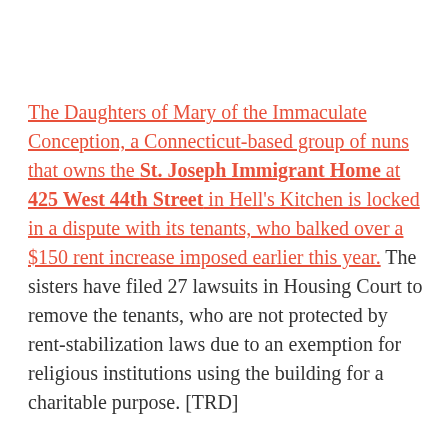The Daughters of Mary of the Immaculate Conception, a Connecticut-based group of nuns that owns the St. Joseph Immigrant Home at 425 West 44th Street in Hell's Kitchen is locked in a dispute with its tenants, who balked over a $150 rent increase imposed earlier this year. The sisters have filed 27 lawsuits in Housing Court to remove the tenants, who are not protected by rent-stabilization laws due to an exemption for religious institutions using the building for a charitable purpose. [TRD]